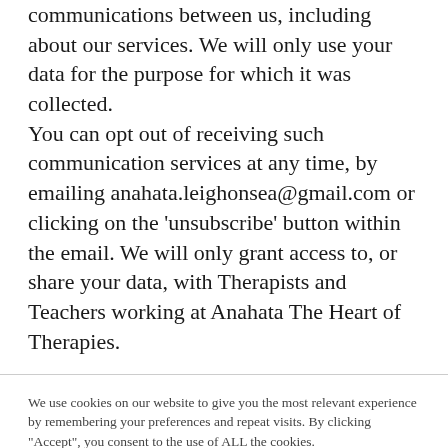also be used to manage future communications between us, including about our services. We will only use your data for the purpose for which it was collected. You can opt out of receiving such communication services at any time, by emailing anahata.leighonsea@gmail.com or clicking on the 'unsubscribe' button within the email. We will only grant access to, or share your data, with Therapists and Teachers working at Anahata The Heart of Therapies.
We use cookies on our website to give you the most relevant experience by remembering your preferences and repeat visits. By clicking "Accept", you consent to the use of ALL the cookies.
Cookie settings
ACCEPT